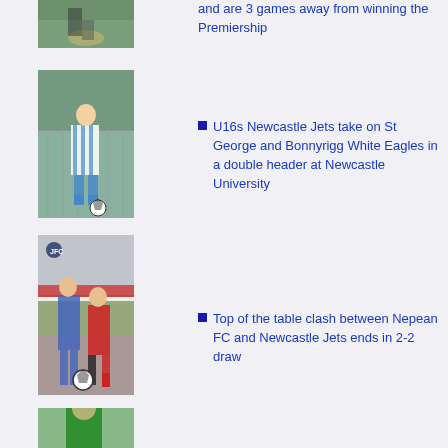[Figure (photo): Soccer player's feet and ball on grass field, partial view from above]
[Figure (photo): Young boy in blue and white striped soccer kit dribbling a ball on a field]
[Figure (photo): Two soccer players competing for the ball during a match, one in blue and one in red and black]
[Figure (photo): Player in green soccer kit, partially visible, bottom of page]
and are 3 games away from winning the Premiership
U16s Newcastle Jets take on St George and Bonnyrigg White Eagles in a double header at Newcastle University
Top of the table clash between Nepean FC and Newcastle Jets ends in 2-2 draw